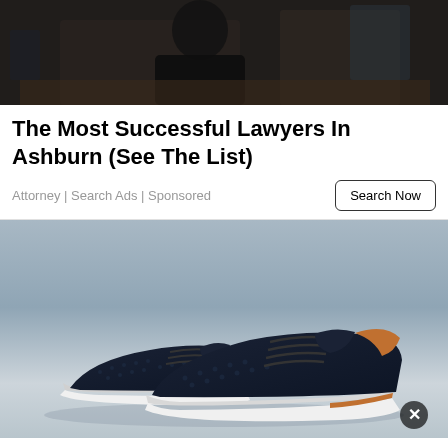[Figure (photo): Photo of a lawyer or judge in dark suit at a desk]
The Most Successful Lawyers In Ashburn (See The List)
Attorney | Search Ads | Sponsored
[Figure (photo): Photo of dark navy blue sneakers/casual shoes with tan leather accents and white soles on a light grey surface]
NFL Star Rob Gronkowski's Favorite Shoes